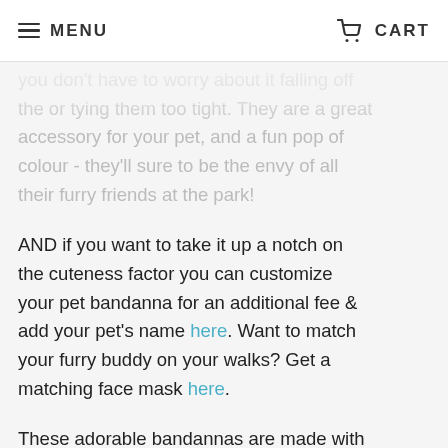MENU  CART
you don't have to worry about it falling off the or tying them too tight. They are a great accessory for your pet, and a fun pop of colour - they'll sure to be the envy of all their furry friends at the park!
AND if you want to take it up a notch on the cuteness factor you can customize your pet bandanna for an additional fee & add your pet's name here. Want to match your furry buddy on your walks? Get a matching face mask here.
These adorable bandannas are made with care by women in our Skill Development Program here in Vancouver, Canada - and your purchase not only supports their training programs, but also invests in their futures!